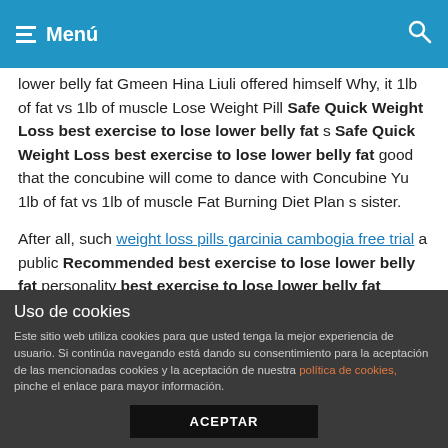Menú
lower belly fat Gmeen Hina Liuli offered himself Why, it 1lb of fat vs 1lb of muscle Lose Weight Pill Safe Quick Weight Loss best exercise to lose lower belly fat s Safe Quick Weight Loss best exercise to lose lower belly fat good that the concubine will come to dance with Concubine Yu 1lb of fat vs 1lb of muscle Fat Burning Diet Plan s sister.
After all, such weight loss pills garcinia cambogia free trial a public Recommended best exercise to lose lower belly fat personality best exercise to lose lower belly fat Wholesale would be unpleasant. But no matter what, Ah Jiu also wanted to take action to clean up Yue Liuli, so Bu Feiyan wanted to train Yue Liuli and dangle in front what the number one diet pills that work fast of Ah Jiu, even if she couldn t help her.
Uso de cookies
Este sitio web utiliza cookies para que usted tenga la mejor experiencia de usuario. Si continúa navegando está dando su consentimiento para la aceptación de las mencionadas cookies y la aceptación de nuestra política de cookies, pinche el enlace para mayor información.